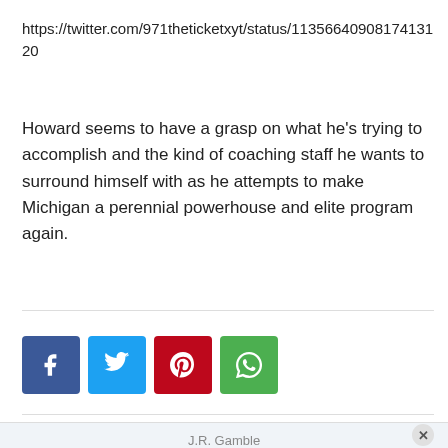https://twitter.com/971theticketxyt/status/1135664090817413120
Howard seems to have a grasp on what he's trying to accomplish and the kind of coaching staff he wants to surround himself with as he attempts to make Michigan a perennial powerhouse and elite program again.
[Figure (infographic): Social sharing buttons: Facebook (blue), Twitter (light blue), Pinterest (red), WhatsApp (green)]